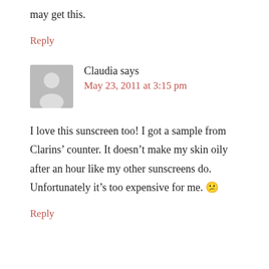may get this.
Reply
Claudia says
May 23, 2011 at 3:15 pm
I love this sunscreen too! I got a sample from Clarins’ counter. It doesn’t make my skin oily after an hour like my other sunscreens do. Unfortunately it’s too expensive for me. 😕
Reply